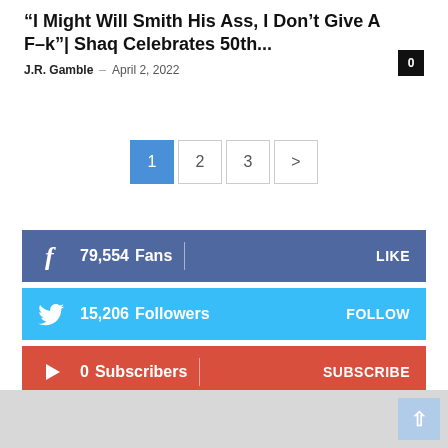“I Might Will Smith His Ass, I Don’t Give A F–k”| Shaq Celebrates 50th...
J.R. Gamble – April 2, 2022
[Figure (other): Pagination controls showing pages 1, 2, 3 and a next arrow. Page 1 is active (blue background).]
[Figure (infographic): Social media follow bars: Facebook 79,554 Fans LIKE (blue), Twitter 15,206 Followers FOLLOW (light blue), YouTube 0 Subscribers SUBSCRIBE (red).]